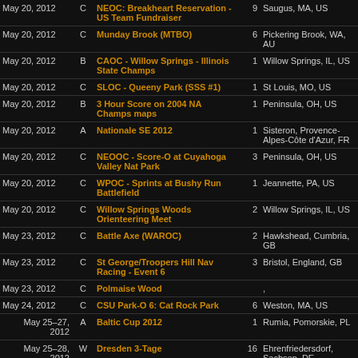| Date | Grade | Event | # | Location |
| --- | --- | --- | --- | --- |
| May 20, 2012 | C | NEOC: Breakheart Reservation - US Team Fundraiser | 9 | Saugus, MA, US |
| May 20, 2012 | C | Munday Brook (MTBO) | 6 | Pickering Brook, WA, AU |
| May 20, 2012 | B | CAOC - Willow Springs - Illinois State Champs | 1 | Willow Springs, IL, US |
| May 20, 2012 | C | SLOC - Queeny Park (SSS #1) | 1 | St Louis, MO, US |
| May 20, 2012 | B | 3 Hour Score on 2004 NA Champs maps | 1 | Peninsula, OH, US |
| May 20, 2012 | A | Nationale SE 2012 | 1 | Sisteron, Provence-Alpes-Côte d'Azur, FR |
| May 20, 2012 | C | NEOOC - Score-O at Cuyahoga Valley Nat Park | 3 | Peninsula, OH, US |
| May 20, 2012 | C | WPOC - Sprints at Bushy Run Battlefield | 1 | Jeannette, PA, US |
| May 20, 2012 | C | Willow Springs Woods Orienteering Meet | 2 | Willow Springs, IL, US |
| May 23, 2012 | C | Battle Axe (WAROC) | 2 | Hawkshead, Cumbria, GB |
| May 23, 2012 | C | St George/Troopers Hill Nav Racing - Event 6 | 3 | Bristol, England, GB |
| May 23, 2012 | C | Polmaise Wood |  | , |
| May 24, 2012 | C | CSU Park-O 6: Cat Rock Park | 6 | Weston, MA, US |
| May 25-27, 2012 | A | Baltic Cup 2012 | 1 | Rumia, Pomorskie, PL |
| May 25-28, 2012 | W | Dresden 3-Tage | 16 | Ehrenfriedersdorf, Sachsen, DE |
| May 26-27, 2012 | A | Western Mass 5-Day | 79 | Amherst, MA, US |